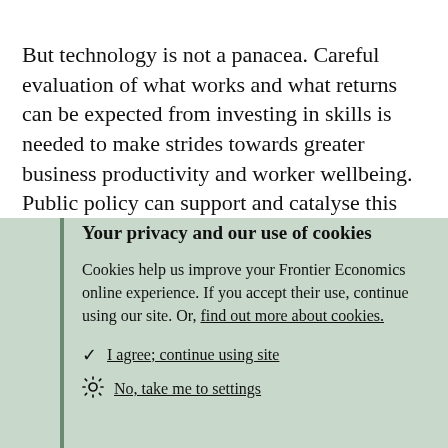But technology is not a panacea. Careful evaluation of what works and what returns can be expected from investing in skills is needed to make strides towards greater business productivity and worker wellbeing. Public policy can support and catalyse this process
Your privacy and our use of cookies
Cookies help us improve your Frontier Economics online experience. If you accept their use, continue using our site. Or, find out more about cookies.
✓ I agree; continue using site
⚙ No, take me to settings